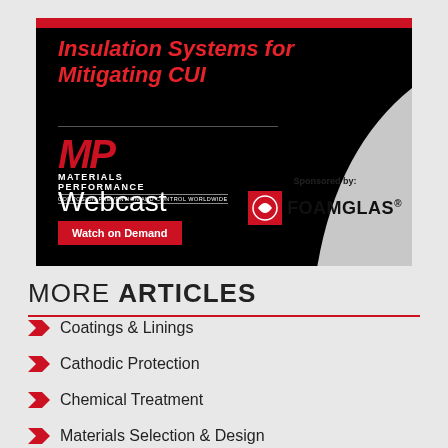[Figure (infographic): Materials Performance Webcast advertisement for 'Insulation Systems for Mitigating CUI', sponsored by Owens Corning FOAMGLAS, with 'Watch on Demand' button]
MORE ARTICLES
Coatings & Linings
Cathodic Protection
Chemical Treatment
Materials Selection & Design